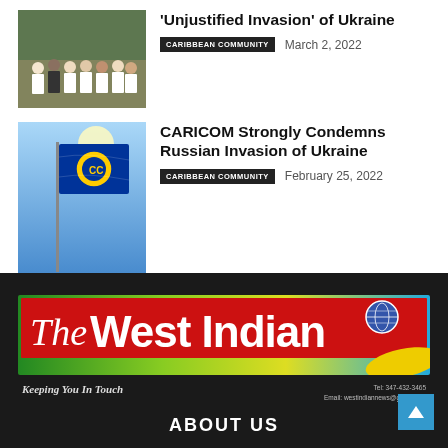[Figure (photo): Group photo of people in white shirts/formal attire outdoors]
'Unjustified Invasion' of Ukraine
CARIBBEAN COMMUNITY   March 2, 2022
[Figure (photo): CARICOM flag waving against blue sky with sun]
CARICOM Strongly Condemns Russian Invasion of Ukraine
CARIBBEAN COMMUNITY   February 25, 2022
[Figure (logo): The West Indian newspaper banner logo with tagline 'Keeping You In Touch']
ABOUT US